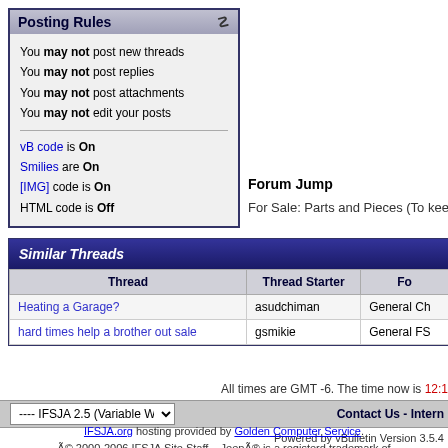Posting Rules
You may not post new threads
You may not post replies
You may not post attachments
You may not edit your posts
vB code is On
Smilies are On
[IMG] code is On
HTML code is Off
Forum Jump
For Sale: Parts and Pieces (To keep our rigs
Similar Threads
| Thread | Thread Starter | Fo |
| --- | --- | --- |
| Heating a Garage? | asudchiman | General Ch |
| hard times help a brother out sale | gsmikie | General FS |
All times are GMT -6. The time now is 12:1
---- IFSJA 2.5 (Variable Width)
Contact Us - Intern
Powered by vBulletin Version 3.5.4
Copyright ©2000 - 2022, Jelsoft Enterprise
IFSJA.org hosting provided by Golden Computer Service.
© 2000-2006 IFSJA Site Staff.   Jeep® is a registerd trademark of DaimlerChrysler.